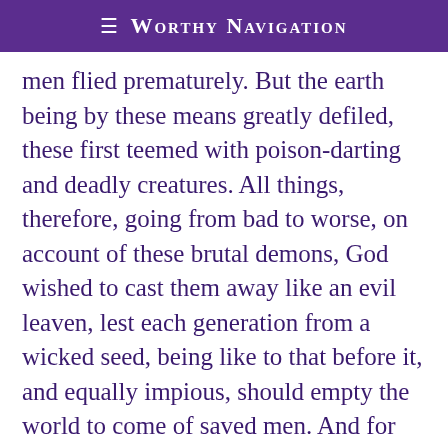≡ Worthy Navigation
men flied prematurely. But the earth being by these means greatly defiled, these first teemed with poison-darting and deadly creatures. All things, therefore, going from bad to worse, on account of these brutal demons, God wished to cast them away like an evil leaven, lest each generation from a wicked seed, being like to that before it, and equally impious, should empty the world to come of saved men. And for this purpose, having warned a certain righteous man,13 with his three sons, together with their wives and their children, to save themselves in an ark, He sent a deluge of water, that all being destroyed, the purified world might be handed over to him who was saved in the ark, in order to a second beginning of life. And thus it came to pass.